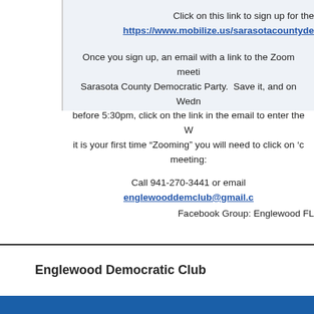Click on this link to sign up for the
https://www.mobilize.us/sarasotacountyde
Once you sign up, an email with a link to the Zoom meeti Sarasota County Democratic Party. Save it, and on Wedn before 5:30pm, click on the link in the email to enter the W it is your first time “Zooming” you will need to click on ‘c meeting:
Call 941-270-3441 or email englewooddemclub@gmail.c
Facebook Group: Englewood FL
Englewood Democratic Club